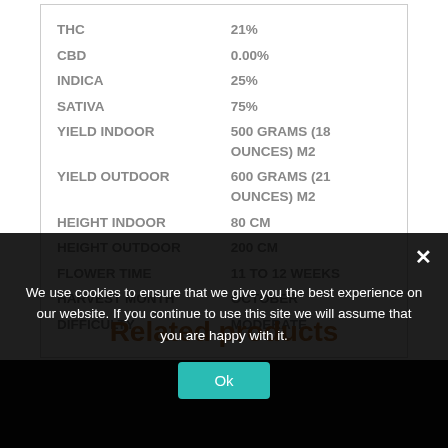| Property | Value |
| --- | --- |
| THC | 21% |
| CBD | 0.00% |
| INDICA | 25% |
| SATIVA | 75% |
| YIELD INDOOR | 500 GRAMS (18 OUNCES) M2 |
| YIELD OUTDOOR | 600 GRAMS (21 OUNCES) M2 |
| HEIGHT INDOOR | 80 CM |
| HEIGHT OUTDOOR | 200 CM |
| FLOWER TIME | 11 TO 12 WEEKS |
| HARVEST MONTH | OCTOBER |
| DIFFICULTY | MODERATE |
Related products
We use cookies to ensure that we give you the best experience on our website. If you continue to use this site we will assume that you are happy with it.